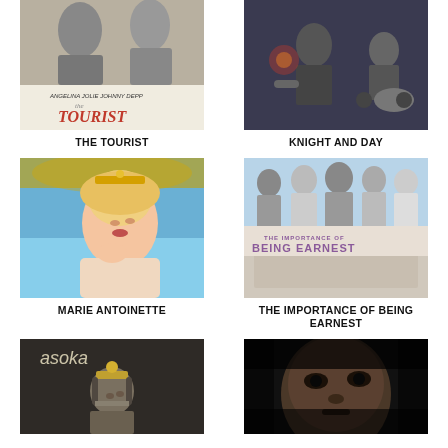[Figure (photo): Movie poster for The Tourist featuring Angelina Jolie and Johnny Depp]
[Figure (photo): Movie poster for Knight and Day action scene]
THE TOURIST
KNIGHT AND DAY
[Figure (photo): Movie poster for Marie Antoinette showing a blonde woman in period costume]
[Figure (photo): Movie poster for The Importance of Being Earnest showing cast and title]
MARIE ANTOINETTE
THE IMPORTANCE OF BEING EARNEST
[Figure (photo): Movie poster for Asoka showing a warrior with long hair]
[Figure (photo): Dark movie poster showing a close-up face]